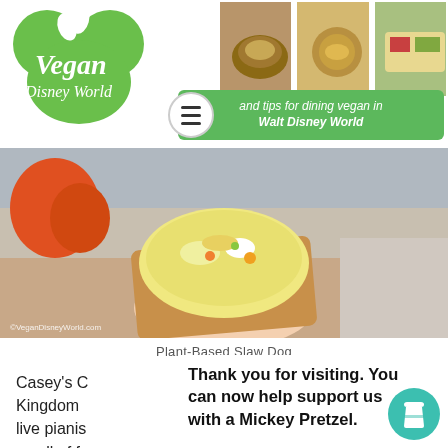[Figure (logo): Vegan Disney World logo with green Mickey Mouse ear silhouette and leaf, plus food photo strip]
[Figure (photo): Hand holding a cardboard tray of Plant-Based Slaw Dog at a Disney park, with colorful toppings. Credit: VeganDisneyWorld.com]
Plant-Based Slaw Dog
Casey's C... Magic Kingdom ...ars. The live pianis... oo... smell of f... nde... Castle, among family memories for many. For years we
Thank you for visiting. You can now help support us with a Mickey Pretzel.